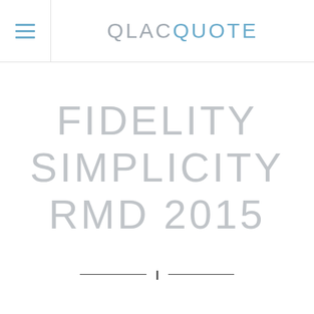QLAC QUOTE
FIDELITY SIMPLICITY RMD 2015